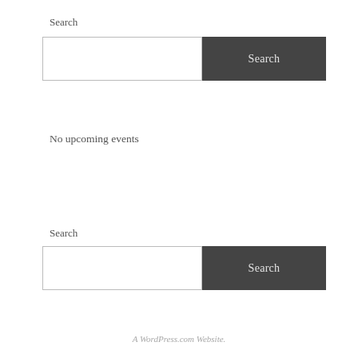Search
[Figure (screenshot): Search input field (white box) and Search button (dark grey)]
No upcoming events
Search
[Figure (screenshot): Second search input field (white box) and Search button (dark grey)]
A WordPress.com Website.